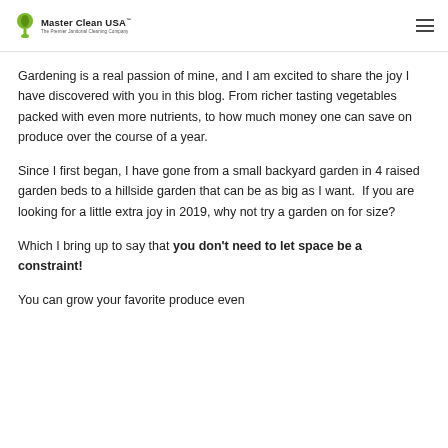Master Clean USA® — The Premier Janitorial Cleaning Company
Gardening is a real passion of mine, and I am excited to share the joy I have discovered with you in this blog. From richer tasting vegetables packed with even more nutrients, to how much money one can save on produce over the course of a year.
Since I first began, I have gone from a small backyard garden in 4 raised garden beds to a hillside garden that can be as big as I want.  If you are looking for a little extra joy in 2019, why not try a garden on for size?
Which I bring up to say that you don't need to let space be a constraint!
You can grow your favorite produce even